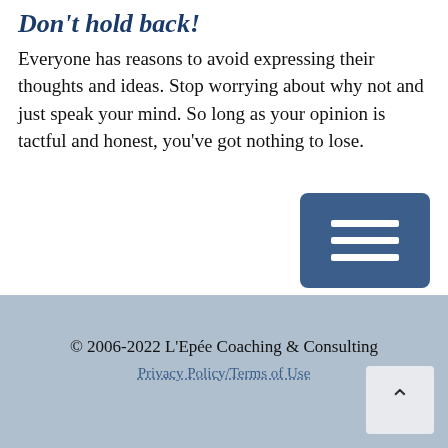Don't hold back!
Everyone has reasons to avoid expressing their thoughts and ideas. Stop worrying about why not and just speak your mind. So long as your opinion is tactful and honest, you've got nothing to lose.
[Figure (other): Blue hamburger menu button with three white horizontal lines]
© 2006-2022 L'Epée Coaching & Consulting
Privacy Policy/Terms of Use